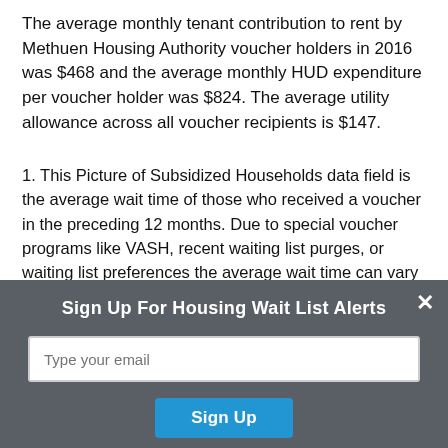The average monthly tenant contribution to rent by Methuen Housing Authority voucher holders in 2016 was $468 and the average monthly HUD expenditure per voucher holder was $824. The average utility allowance across all voucher recipients is $147.
1. This Picture of Subsidized Households data field is the average wait time of those who received a voucher in the preceding 12 months. Due to special voucher programs like VASH, recent waiting list purges, or waiting list preferences the average wait time can vary significantly from one year to the next and it is entirely possible many current applicants
[Figure (screenshot): Modal overlay with dark gray background. Contains a close button (×) in top right, heading 'Sign Up For Housing Wait List Alerts', an email input field with placeholder 'Type your email', and a blue 'Sign Up' button.]